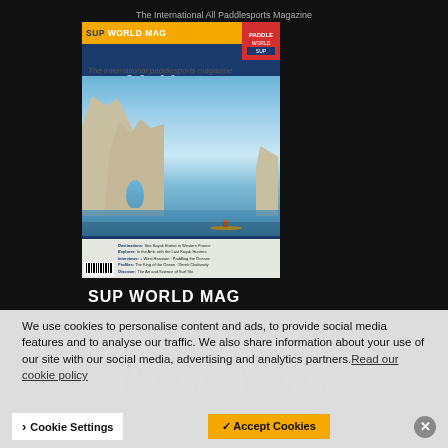The International All Paddlesports Magazine
[Figure (photo): Cover of Paddle World magazine / SUP World Mag showing a kayaker paddling near dramatic chalk cliffs with a natural arch, with the magazine title 'Paddle World' in large blue bold text and 'World' in italic script, with a SUP World Mag orange banner at the top and a small inset cover image top right.]
SUP WORLD MAG
We use cookies to personalise content and ads, to provide social media features and to analyse our traffic. We also share information about your use of our site with our social media, advertising and analytics partners. Read our cookie policy
Cookie Settings   ✓ Accept Cookies